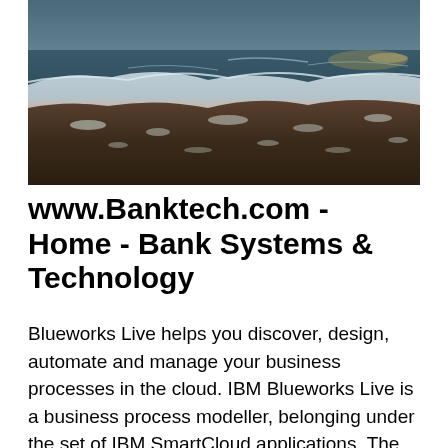[Figure (photo): Aerial/close-up photograph of ocean waves washing onto a dark sandy beach shore, with white seafoam visible along the wave line.]
www.Banktech.com - Home - Bank Systems & Technology
Blueworks Live helps you discover, design, automate and manage your business processes in the cloud. IBM Blueworks Live is a business process modeller, belonging under the set of IBM SmartCloud applications. The application is designed to help organizations discover and document their business processes, business decisions and policies in a collaborative manner